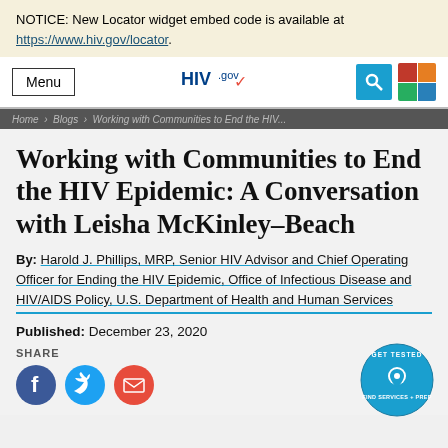NOTICE: New Locator widget embed code is available at https://www.hiv.gov/locator.
[Figure (screenshot): HIV.gov website navigation bar with Menu button, HIV.gov logo, search icon, and colorful grid icon]
Working with Communities to End the HIV Epidemic: A Conversation with Leisha McKinley-Beach
By: Harold J. Phillips, MRP, Senior HIV Advisor and Chief Operating Officer for Ending the HIV Epidemic, Office of Infectious Disease and HIV/AIDS Policy, U.S. Department of Health and Human Services
Published: December 23, 2020
SHARE
[Figure (illustration): Social share icons: Facebook (blue circle), Twitter (light blue circle), Email (red circle)]
[Figure (logo): GET TESTED FIND SERVICES + PREP circular badge in teal/blue]